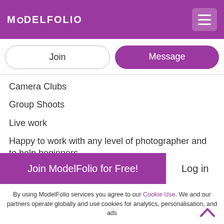MODELFOLIO
Join
Message
Camera Clubs
Group Shoots
Live work
Happy to work with any level of photographer and to help beginners.
Trained actor and director
Stage experience
Film Extra
TV advertisements
Recent shoots for TV dramas and The Sun
Join ModelFolio for Free!
Log in
By using ModelFolio services you agree to our Cookie Use. We and our partners operate globally and use cookies for analytics, personalisation, and ads